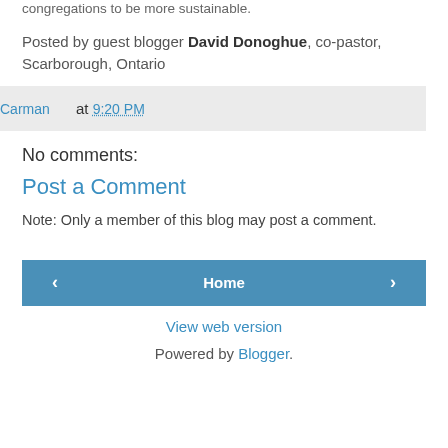congregations to be more sustainable.
Posted by guest blogger David Donoghue, co-pastor, Scarborough, Ontario
Carman at 9:20 PM
No comments:
Post a Comment
Note: Only a member of this blog may post a comment.
Home
View web version
Powered by Blogger.